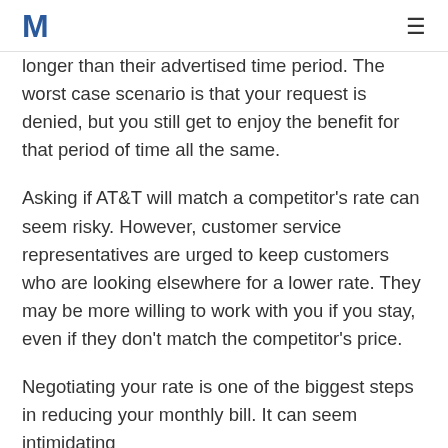M
longer than their advertised time period. The worst case scenario is that your request is denied, but you still get to enjoy the benefit for that period of time all the same.
Asking if AT&T will match a competitor's rate can seem risky. However, customer service representatives are urged to keep customers who are looking elsewhere for a lower rate. They may be more willing to work with you if you stay, even if they don't match the competitor's price.
Negotiating your rate is one of the biggest steps in reducing your monthly bill. It can seem intimidating